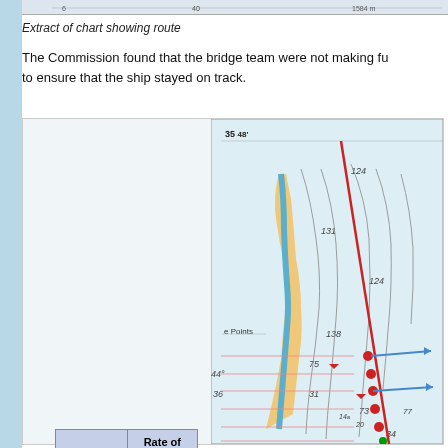Extract of chart showing route
The Commission found that the bridge team were not making fu... to ensure that the ship stayed on track.
| Time | Rate of turn ordered |
| --- | --- |
| 05:50:45 | 2° port |
| 05:51:06 | 5° port |
| 05:51:32 | 10° port |
| 05:51:57 | 15° port |
| 05:53:20 | 20° port |
| 05:54:20 | 30° port |
[Figure (map): Nautical chart extract showing vessel route with red track line, depth soundings (124, 131, 138, 75, 31, 73, 34), arrow markers indicating vessel positions and headings, latitude 35°48', and turn points. Sandy coastal area with blue waterway visible. Table with rate of turn orders overlaid on left.]